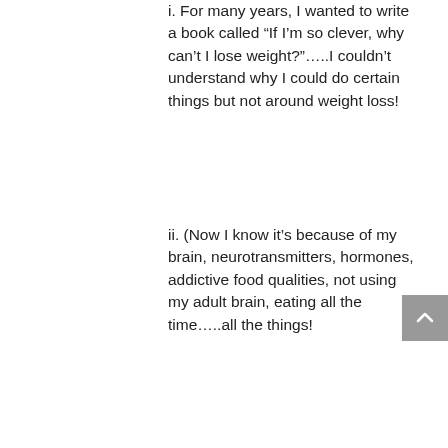i. For many years, I wanted to write a book called “If I’m so clever, why can’t I lose weight?”…..I couldn’t understand why I could do certain things but not around weight loss!
ii. (Now I know it’s because of my brain, neurotransmitters, hormones, addictive food qualities, not using my adult brain, eating all the time…..all the things!